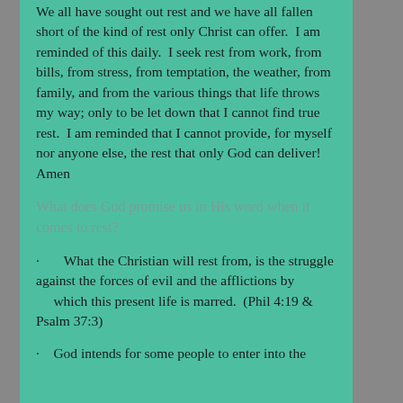We all have sought out rest and we have all fallen short of the kind of rest only Christ can offer.  I am reminded of this daily.  I seek rest from work, from bills, from stress, from temptation, the weather, from family, and from the various things that life throws my way; only to be let down that I cannot find true rest.  I am reminded that I cannot provide, for myself nor anyone else, the rest that only God can deliver! Amen
What does God promise us in His word when it comes to rest?
·       What the Christian will rest from, is the struggle against the forces of evil and the afflictions by which this present life is marred.  (Phil 4:19 & Psalm 37:3)
·    God intends for some people to enter into the